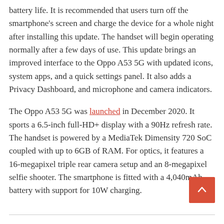battery life. It is recommended that users turn off the smartphone's screen and charge the device for a whole night after installing this update. The handset will begin operating normally after a few days of use. This update brings an improved interface to the Oppo A53 5G with updated icons, system apps, and a quick settings panel. It also adds a Privacy Dashboard, and microphone and camera indicators.
The Oppo A53 5G was launched in December 2020. It sports a 6.5-inch full-HD+ display with a 90Hz refresh rate. The handset is powered by a MediaTek Dimensity 720 SoC coupled with up to 6GB of RAM. For optics, it features a 16-megapixel triple rear camera setup and an 8-megapixel selfie shooter. The smartphone is fitted with a 4,040mAh battery with support for 10W charging.